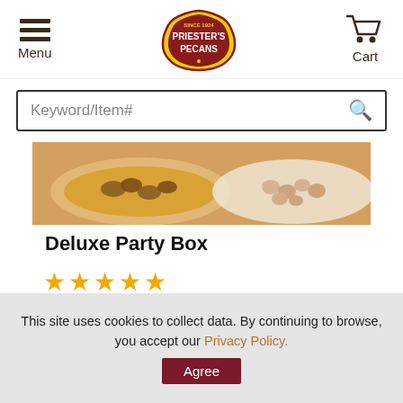Menu | Priester's Pecans | Cart
Keyword/Item#
[Figure (photo): Product image showing pecans and pecan dishes in bowls from above]
Deluxe Party Box
★★★★★
$58.99
SHOP NOW
This site uses cookies to collect data. By continuing to browse, you accept our Privacy Policy. Agree